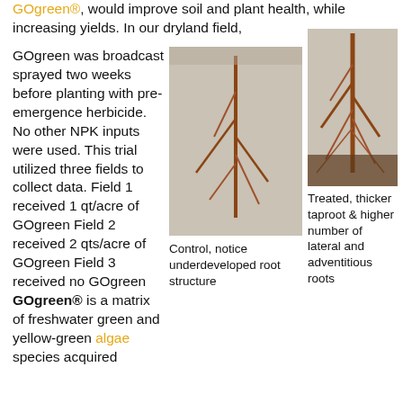GOgreen®, would improve soil and plant health, while increasing yields. In our dryland field,
GOgreen was broadcast sprayed two weeks before planting with pre-emergence herbicide. No other NPK inputs were used. This trial utilized three fields to collect data. Field 1 received 1 qt/acre of GOgreen Field 2 received 2 qts/acre of GOgreen Field 3 received no GOgreen GOgreen® is a matrix of freshwater green and yellow-green algae species acquired
[Figure (photo): Photo of plant root system showing underdeveloped root structure (control).]
Control, notice underdeveloped root structure
[Figure (photo): Photo of plant root system showing thicker taproot and higher number of lateral and adventitious roots (treated).]
Treated, thicker taproot & higher number of lateral and adventitious roots